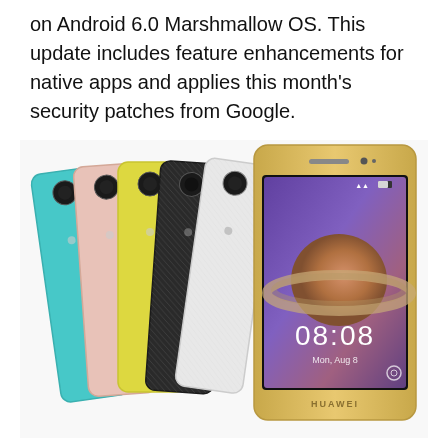on Android 6.0 Marshmallow OS. This update includes feature enhancements for native apps and applies this month's security patches from Google.
[Figure (photo): Five Huawei smartphones shown from the back in various colors (cyan, pink, yellow, black textured, white textured) fanned out, with a sixth gold-framed Huawei phone shown from the front displaying the time 08:08, Mon Aug 8, with a Saturn wallpaper.]